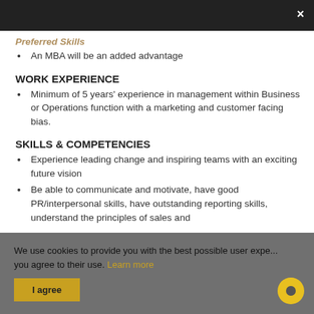× [dark top bar with close button]
An MBA will be an added advantage
WORK EXPERIENCE
Minimum of 5 years' experience in management within Business or Operations function with a marketing and customer facing bias.
SKILLS & COMPETENCIES
Experience leading change and inspiring teams with an exciting future vision
Be able to communicate and motivate, have good PR/interpersonal skills, have outstanding reporting skills, understand the principles of sales and
We use cookies to provide you with the best possible user experience. By continuing to use this site, you agree to their use. Learn more